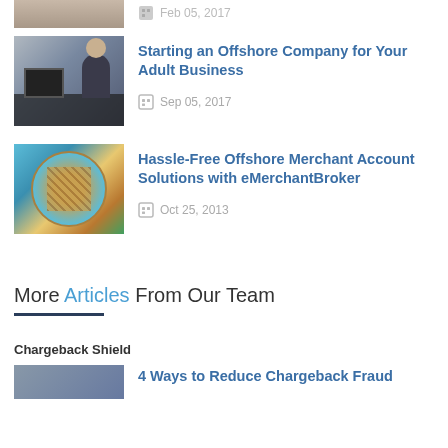[Figure (photo): Partial cropped image of a person (top of page, cut off), accompanied by a partial date text]
Feb 05, 2017
[Figure (photo): Business person sitting at a desk with a computer monitor]
Starting an Offshore Company for Your Adult Business
Sep 05, 2017
[Figure (photo): Aerial city view styled as a circular globe/planet miniature]
Hassle-Free Offshore Merchant Account Solutions with eMerchantBroker
Oct 25, 2013
More Articles From Our Team
Chargeback Shield
[Figure (photo): Partial image at bottom of page (cropped)]
4 Ways to Reduce Chargeback Fraud